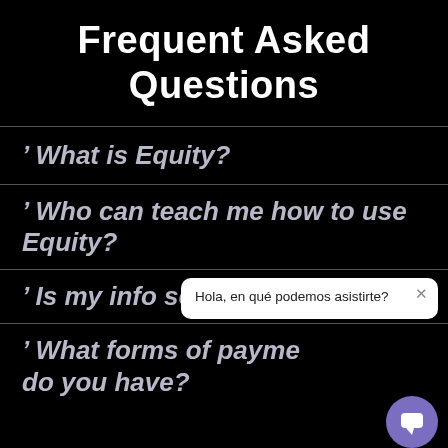Frequent Asked Questions
' What is Equity?
' Who can teach me how to use Equity?
' Is my info secure?
' What forms of payment do you have?